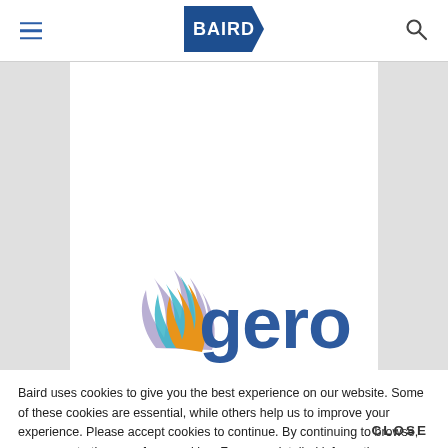BAIRD
[Figure (logo): Geron corporation logo: flame icon in blue, teal, orange, and purple with the word 'geron' in blue sans-serif text]
Baird uses cookies to give you the best experience on our website. Some of these cookies are essential, while others help us to improve your experience. Please accept cookies to continue. By continuing to browse, you agree to the use of our cookies. For more detailed information on our use of cookies and our data privacy protections, please see our Cookie Policy and our Privacy Notice.
CLOSE